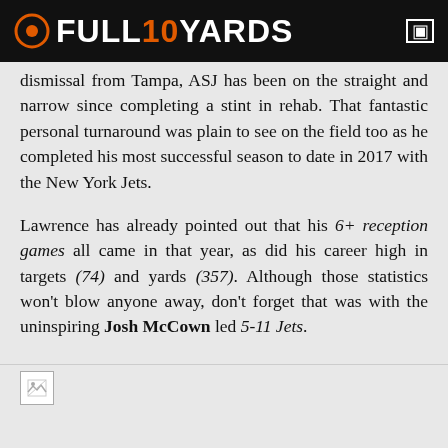FULL10YARDS
dismissal from Tampa, ASJ has been on the straight and narrow since completing a stint in rehab. That fantastic personal turnaround was plain to see on the field too as he completed his most successful season to date in 2017 with the New York Jets.
Lawrence has already pointed out that his 6+ reception games all came in that year, as did his career high in targets (74) and yards (357). Although those statistics won't blow anyone away, don't forget that was with the uninspiring Josh McCown led 5-11 Jets.
[Figure (photo): Broken image placeholder at bottom of article]